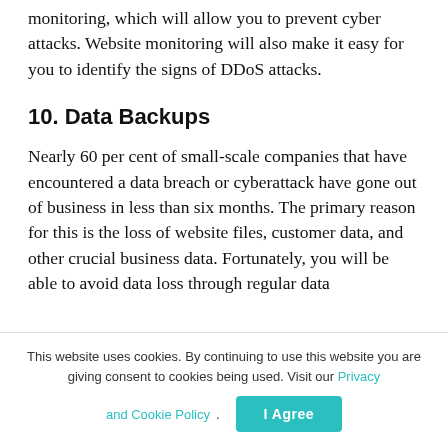monitoring, which will allow you to prevent cyber attacks. Website monitoring will also make it easy for you to identify the signs of DDoS attacks.
10. Data Backups
Nearly 60 per cent of small-scale companies that have encountered a data breach or cyberattack have gone out of business in less than six months. The primary reason for this is the loss of website files, customer data, and other crucial business data. Fortunately, you will be able to avoid data loss through regular data
This website uses cookies. By continuing to use this website you are giving consent to cookies being used. Visit our Privacy and Cookie Policy.